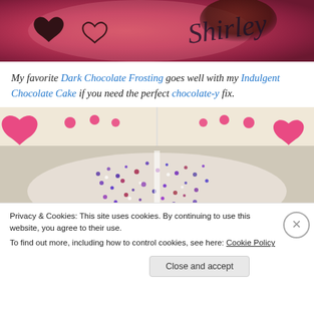[Figure (photo): Close-up photo of a chocolate item with hand-drawn hearts and cursive writing 'Shirley' on a pink/red background]
My favorite Dark Chocolate Frosting goes well with my Indulgent Chocolate Cake if you need the perfect chocolate-y fix.
[Figure (photo): Photo of a cake with purple/blue sprinkles on top, with pink heart decorations on a beige background border. A cookie consent banner overlays the bottom portion.]
Privacy & Cookies: This site uses cookies. By continuing to use this website, you agree to their use.
To find out more, including how to control cookies, see here: Cookie Policy